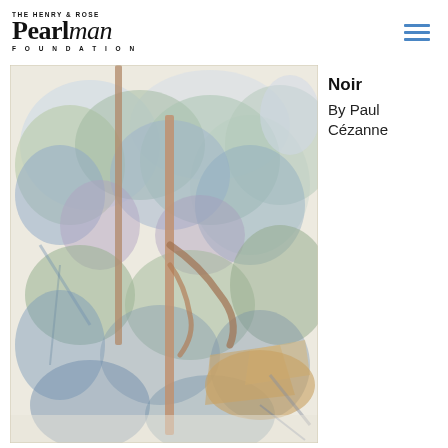Pearlman THE HENRY & ROSE FOUNDATION
[Figure (illustration): Watercolor painting of trees and foliage in a forest scene, painted in muted blues, greens, purples, and browns on cream paper. The work shows loose, gestural brushstrokes depicting tree trunks and dense vegetation. Artwork by Paul Cézanne titled 'Noir'.]
Noir
By Paul Cézanne